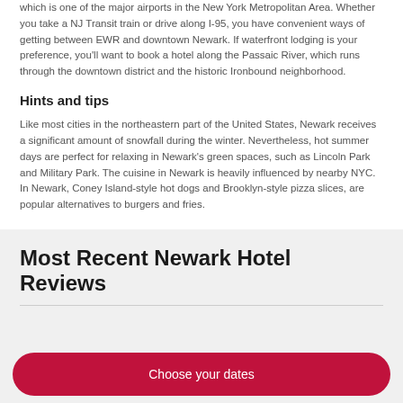which is one of the major airports in the New York Metropolitan Area. Whether you take a NJ Transit train or drive along I-95, you have convenient ways of getting between EWR and downtown Newark. If waterfront lodging is your preference, you'll want to book a hotel along the Passaic River, which runs through the downtown district and the historic Ironbound neighborhood.
Hints and tips
Like most cities in the northeastern part of the United States, Newark receives a significant amount of snowfall during the winter. Nevertheless, hot summer days are perfect for relaxing in Newark's green spaces, such as Lincoln Park and Military Park. The cuisine in Newark is heavily influenced by nearby NYC. In Newark, Coney Island-style hot dogs and Brooklyn-style pizza slices, are popular alternatives to burgers and fries.
Most Recent Newark Hotel Reviews
Choose your dates